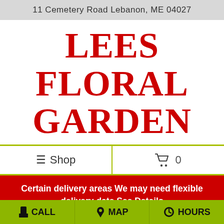11 Cemetery Road Lebanon, ME 04027
LEES FLORAL GARDEN
≡ Shop   🛒 0
Certain delivery areas We may need flexible delivery date See Details
SYMPATHY FLOWERS
📱 CALL   📍 MAP   🕐 HOURS